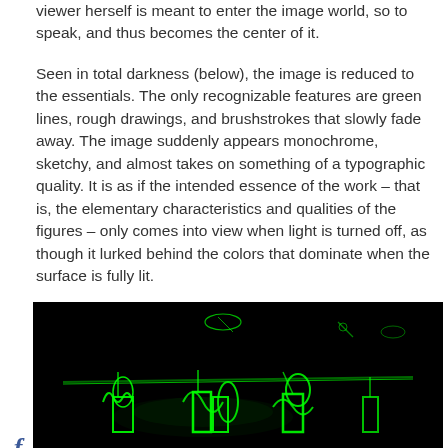viewer herself is meant to enter the image world, so to speak, and thus becomes the center of it.

Seen in total darkness (below), the image is reduced to the essentials. The only recognizable features are green lines, rough drawings, and brushstrokes that slowly fade away. The image suddenly appears monochrome, sketchy, and almost takes on something of a typographic quality. It is as if the intended essence of the work – that is, the elementary characteristics and qualities of the figures – only comes into view when light is turned off, as though it lurked behind the colors that dominate when the surface is fully lit.
[Figure (photo): Dark photograph showing glowing green figures and shapes on a black background, resembling phosphorescent or UV-lit art installation.]